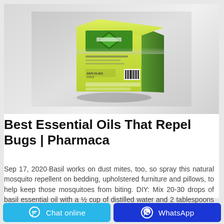[Figure (photo): Product photo of a yellow and green ARDON Anti-Flies Coils box on a white reflective surface]
Best Essential Oils That Repel Bugs | Pharmaca
Sep 17, 2020·Basil works on dust mites, too, so spray this natural mosquito repellent on bedding, upholstered furniture and pillows, to help keep those mosquitoes from biting. DIY: Mix 20-30 drops of basil essential oil with a ½ cup of distilled water and 2 tablespoons vodka or witch hazel in a spray …
Chat online
WhatsApp